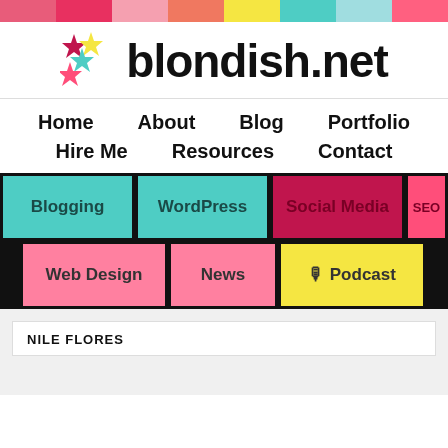[Figure (illustration): Colorful horizontal stripe bar at top of page with multiple colors including pink, red, light pink, salmon, yellow, teal, light blue, and coral]
[Figure (logo): blondish.net logo with colorful stars (crimson, yellow, teal, hot pink) and bold black text 'blondish.net']
Home
About
Blog
Portfolio
Hire Me
Resources
Contact
Blogging
WordPress
Social Media
SEO
Web Design
News
🎙 Podcast
NILE FLORES